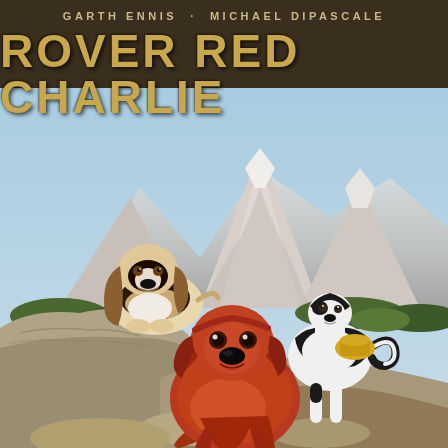ROVER RED CHARLIE
GARTH ENNIS · MICHAEL DIPASCALE
[Figure (illustration): Comic book cover illustration showing three dogs in a mountain landscape. A basset hound sits on a rock ledge at upper left with long droopy ears, brown and white coloring. In the center foreground is a large red/auburn colored dog (Irish Setter type) facing the viewer. At the right stands a black and white Border Collie type dog with a yellow saddle/bag on its back. Behind the dogs are dramatic snow-capped mountain peaks under a light blue sky, with rocky terrain and some green foliage at the base.]